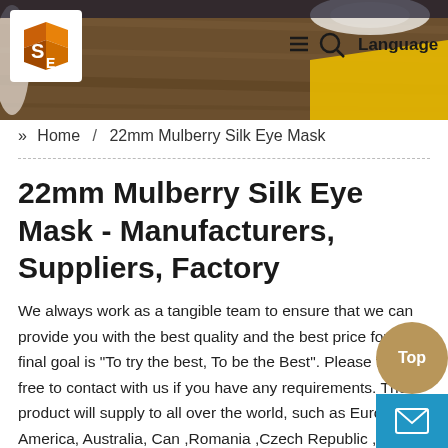[Figure (photo): Website header with a photo of a wooden table surface with coffee cup and yellow napkin. Logo (orange/brown cube icon with S and E letters) in top-left. Navigation icons (hamburger menu, search icon) and Language text in top-right.]
» Home / 22mm Mulberry Silk Eye Mask
22mm Mulberry Silk Eye Mask - Manufacturers, Suppliers, Factory
We always work as a tangible team to ensure that we can provide you with the best quality and the best price for .Our final goal is "To try the best, To be the Best". Please feel free to contact with us if you have any requirements. The product will supply to all over the world, such as Europe, America, Australia, Can ,Romania ,Czech Republic ,We take measure at any exp o achieve essentially the most up-to-date equipment and